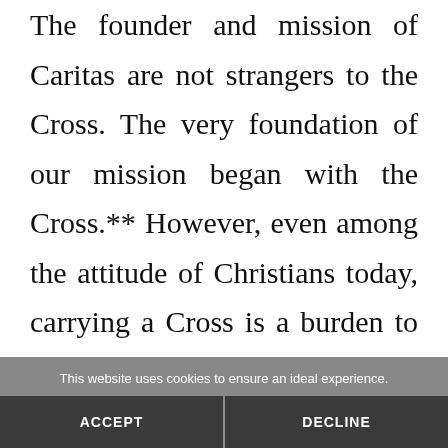The founder and mission of Caritas are not strangers to the Cross. The very foundation of our mission began with the Cross.** However, even among the attitude of Christians today, carrying a Cross is a burden to be avoided at all costs.
This website uses cookies to ensure an ideal experience.
ACCEPT
DECLINE